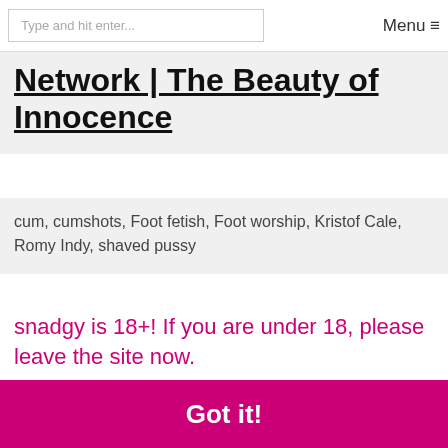Type and hit enter... Menu ☰
Network | The Beauty of Innocence
cum, cumshots, Foot fetish, Foot worship, Kristof Cale, Romy Indy, shaved pussy
snadgy is 18+! If you are under 18, please leave the site now.
This website uses cookies to ensure you get the best experience on our website.
Got it!